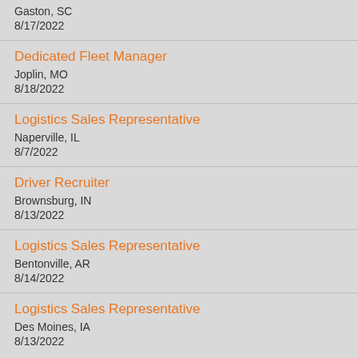Gaston, SC
8/17/2022
Dedicated Fleet Manager
Joplin, MO
8/18/2022
Logistics Sales Representative
Naperville, IL
8/7/2022
Driver Recruiter
Brownsburg, IN
8/13/2022
Logistics Sales Representative
Bentonville, AR
8/14/2022
Logistics Sales Representative
Des Moines, IA
8/13/2022